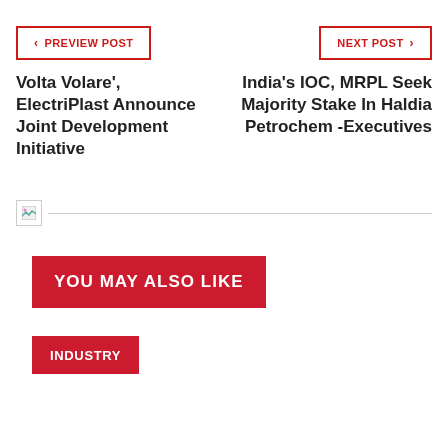PREVIEW POST
NEXT POST
Volta Volare', ElectriPlast Announce Joint Development Initiative
India's IOC, MRPL Seek Majority Stake In Haldia Petrochem -Executives
YOU MAY ALSO LIKE
INDUSTRY